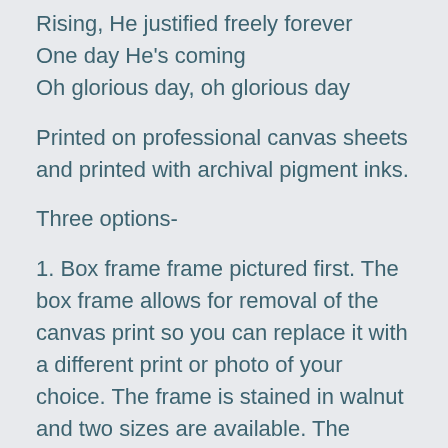Rising, He justified freely forever
One day He's coming
Oh glorious day, oh glorious day
Printed on professional canvas sheets and printed with archival pigment inks.
Three options-
1. Box frame frame pictured first. The box frame allows for removal of the canvas print so you can replace it with a different print or photo of your choice. The frame is stained in walnut and two sizes are available. The frame is 1.75 inches thick which allows it to sit freely in the medium size if hanging isn't desired. For the framed option- the wood is stained in walnut and has a rustic feel. Twine is added to the top of the poster